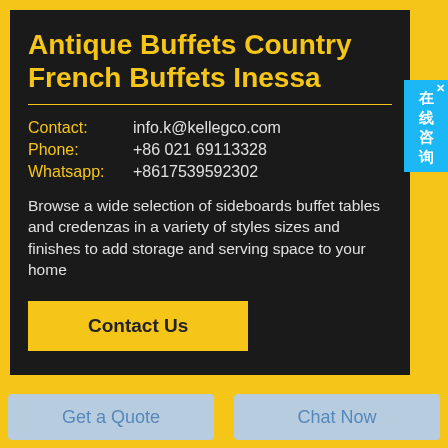Antique Buffets Country French Buffets Inessa
Contact: info.k@kellegco.com
Phone: +86 021 69113328
Whatsapp: +8617539592302
Browse a wide selection of sideboards buffet tables and credenzas in a variety of styles sizes and finishes to add storage and serving space to your home
Contact Us
Get a Quote
Chat Now